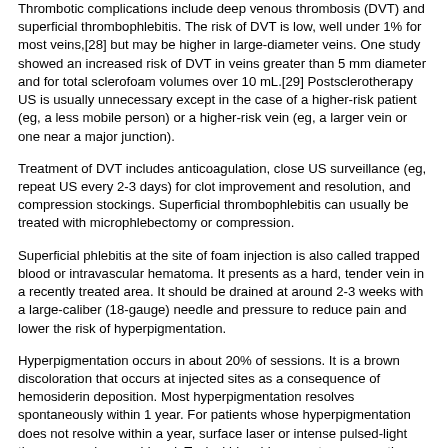Thrombotic complications include deep venous thrombosis (DVT) and superficial thrombophlebitis. The risk of DVT is low, well under 1% for most veins,[28] but may be higher in large-diameter veins. One study showed an increased risk of DVT in veins greater than 5 mm diameter and for total sclerofoam volumes over 10 mL.[29] Postsclerotherapy US is usually unnecessary except in the case of a higher-risk patient (eg, a less mobile person) or a higher-risk vein (eg, a larger vein or one near a major junction).
Treatment of DVT includes anticoagulation, close US surveillance (eg, repeat US every 2-3 days) for clot improvement and resolution, and compression stockings. Superficial thrombophlebitis can usually be treated with microphlebectomy or compression.
Superficial phlebitis at the site of foam injection is also called trapped blood or intravascular hematoma. It presents as a hard, tender vein in a recently treated area. It should be drained at around 2-3 weeks with a large-caliber (18-gauge) needle and pressure to reduce pain and lower the risk of hyperpigmentation.
Hyperpigmentation occurs in about 20% of sessions. It is a brown discoloration that occurs at injected sites as a consequence of hemosiderin deposition. Most hyperpigmentation resolves spontaneously within 1 year. For patients whose hyperpigmentation does not resolve within a year, surface laser or intense pulsed-light therapy may be considered. Topical bleaching agents are sometimes used as well.
Matting is the development of tiny red vessels around the site of an injected vein. It is probably a neovascularization phenomenon. Matting occurs in around 15-20% of sessions and usually resolves within 1 year. Sclerotherapy or surface laser can be considered for persistent matting.